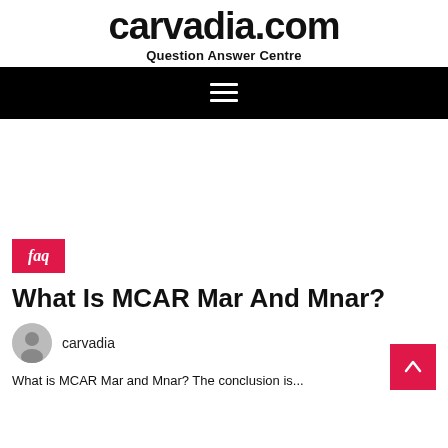carvadia.com
Question Answer Centre
[Figure (other): Black navigation bar with white hamburger menu icon (three horizontal lines)]
[Figure (other): Advertisement/empty white space area]
faq
What Is MCAR Mar And Mnar?
carvadia
What is MCAR Mar and Mnar? The conclusion is...